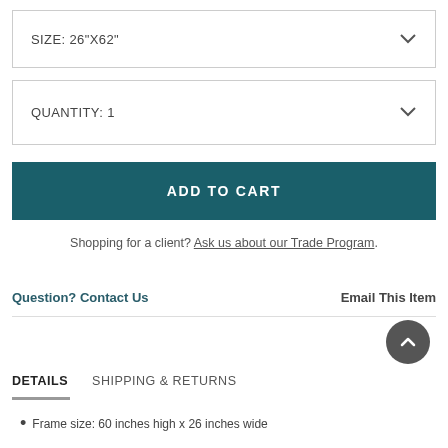SIZE: 26"X62"
QUANTITY: 1
ADD TO CART
Shopping for a client? Ask us about our Trade Program.
Question? Contact Us
Email This Item
DETAILS    SHIPPING & RETURNS
Frame size: 60 inches high x 26 inches wide